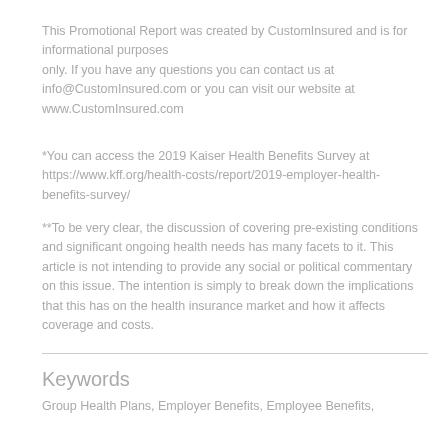This Promotional Report was created by CustomInsured and is for informational purposes only. If you have any questions you can contact us at info@CustomInsured.com or you can visit our website at www.CustomInsured.com
*You can access the 2019 Kaiser Health Benefits Survey at https://www.kff.org/health-costs/report/2019-employer-health-benefits-survey/
**To be very clear, the discussion of covering pre-existing conditions and significant ongoing health needs has many facets to it. This article is not intending to provide any social or political commentary on this issue. The intention is simply to break down the implications that this has on the health insurance market and how it affects coverage and costs.
Keywords
Group Health Plans, Employer Benefits, Employee Benefits,